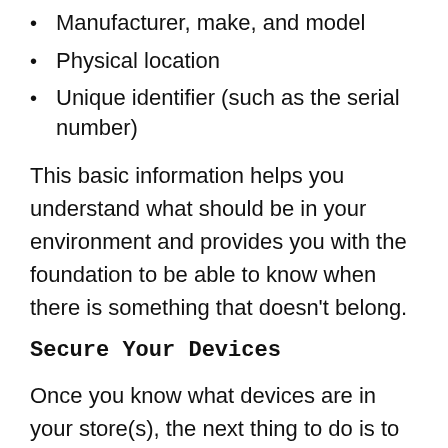Manufacturer, make, and model
Physical location
Unique identifier (such as the serial number)
This basic information helps you understand what should be in your environment and provides you with the foundation to be able to know when there is something that doesn't belong.
Secure Your Devices
Once you know what devices are in your store(s), the next thing to do is to take steps to secure the devices. This can be